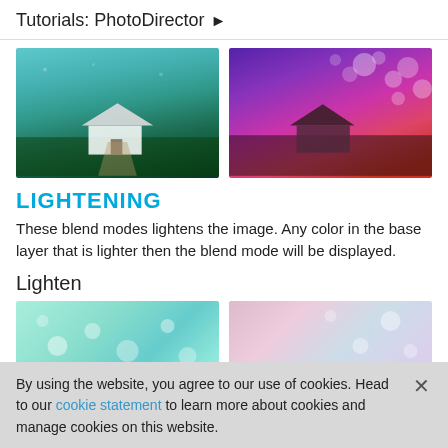Tutorials: PhotoDirector ▶
[Figure (photo): Two side-by-side photos of a farmhouse: left shows a teal/green toned image, right shows a purple/pink/red toned image with bokeh light effects]
LIGHTENING
These blend modes lightens the image. Any color in the base layer that is lighter then the blend mode will be displayed.
Lighten
[Figure (photo): Two side-by-side partially visible images: left is a light teal/mint colored image with bubble bokeh effects, right is a soft pink/lavender image with light effects]
By using the website, you agree to our use of cookies. Head to our cookie statement to learn more about cookies and manage cookies on this website.